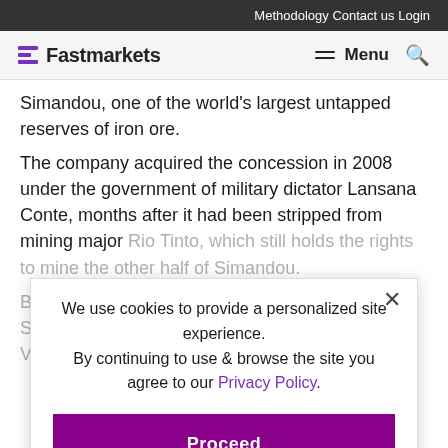Methodology   Contact us   Login
Fastmarkets   Menu
Simandou, one of the world's largest untapped reserves of iron ore.
The company acquired the concession in 2008 under the government of military dictator Lansana Conte, months after it had been stripped from mining major Rio Tinto, which still holds the rights to mine the other half of Simandou.
BSG Resources went on to sell a 51% stake in its Simandou concession to Brazilian mining major Vale in 2010 for $2.5 billion.
We use cookies to provide a personalized site experience.
By continuing to use & browse the site you agree to our Privacy Policy.
Proceed